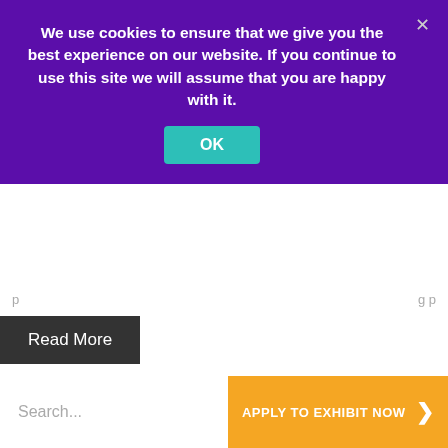We use cookies to ensure that we give you the best experience on our website. If you continue to use this site we will assume that you are happy with it.
OK
p ... g p
Read More
1  2  3  ...  15  Next
Search...
APPLY TO EXHIBIT NOW